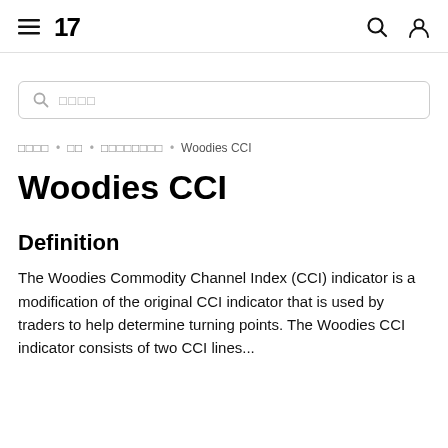≡ 17 [search icon] [user icon]
[Figure (screenshot): Search box with placeholder text in Korean characters]
◻◻◻◻ • ◻◻ • ◻◻◻◻◻◻◻◻ • Woodies CCI
Woodies CCI
Definition
The Woodies Commodity Channel Index (CCI) indicator is a modification of the original CCI indicator that is used by traders to help determine turning points. The Woodies CCI indicator consists of two CCI lines...